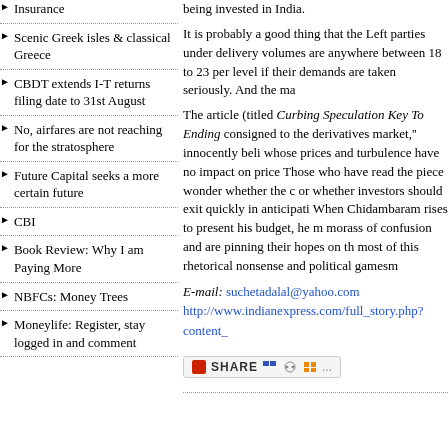Insurance
Scenic Greek isles & classical Greece
CBDT extends I-T returns filing date to 31st August
No, airfares are not reaching for the stratosphere
Future Capital seeks a more certain future
CBI
Book Review: Why I am Paying More
NBFCs: Money Trees
Moneylife: Register, stay logged in and comment
being invested in India.
It is probably a good thing that the Left parties under delivery volumes are anywhere between 18 to 23 per level if their demands are taken seriously. And the ma
The article (titled Curbing Speculation Key To Ending consigned to the derivatives market,'' innocently beli whose prices and turbulence have no impact on price Those who have read the piece wonder whether the c or whether investors should exit quickly in anticipati When Chidambaram rises to present his budget, he m morass of confusion and are pinning their hopes on th most of this rhetorical nonsense and political gamesm
E-mail: suchetadalal@yahoo.com
http://www.indianexpress.com/full_story.php?content_
[Figure (other): Share button with social sharing icons]